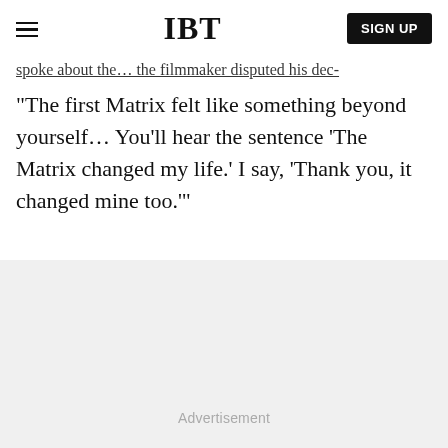IBT | SIGN UP
spoke about the… the filmmaker disputed his dec-
"The first Matrix felt like something beyond yourself… You'll hear the sentence 'The Matrix changed my life.' I say, 'Thank you, it changed mine too.'"
Advertisement